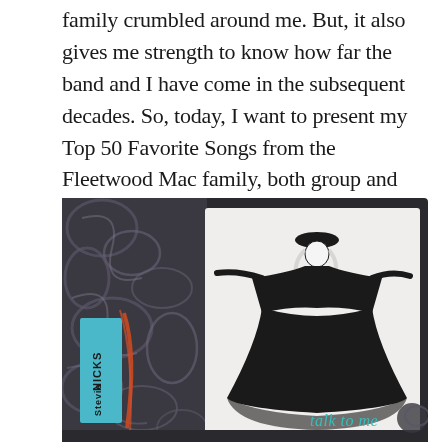family crumbled around me. But, it also gives me strength to know how far the band and I have come in the subsequent decades. So, today, I want to present my Top 50 Favorite Songs from the Fleetwood Mac family, both group and solo efforts.
[Figure (illustration): Album cover for Stevie Nicks 'Talk to Me' single. Features a black and white image of Stevie Nicks in a wide black dress and hat with arms outstretched, on a white background. The left side has a dark decorative swirl pattern background with a teal/blue rectangle containing 'Stevie Nicks' written vertically. The text 'talk to me' appears in teal lowercase letters in the lower right.]